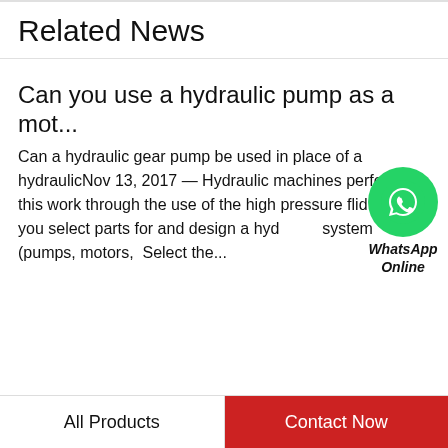Related News
Can you use a hydraulic pump as a mot...
Can a hydraulic gear pump be used in place of a hydraulicNov 13, 2017 — Hydraulic machines perform this work through the use of the high pressure fluid How do you select parts for and design a hydraulic system (pumps, motors, Select the...
[Figure (logo): WhatsApp green circle icon with phone handset, labeled WhatsApp Online]
How do I know if my hydraulic motor ...
3 Simple Tests to Identify a Bad Pump On-Site - BernellJul 22, 2015 — Before you disconnect your hydraulic pump and bring it to a shop for other signs of wear on the component walls, you definitely have a
All Products   Contact Now